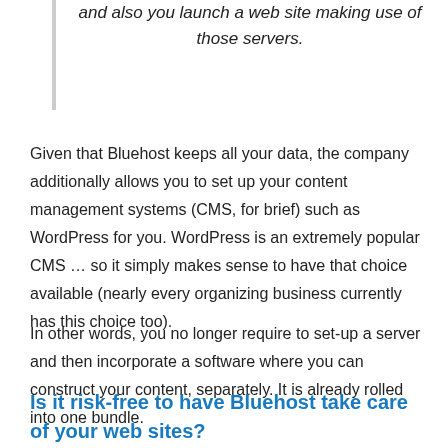and also you launch a web site making use of those servers.
Given that Bluehost keeps all your data, the company additionally allows you to set up your content management systems (CMS, for brief) such as WordPress for you. WordPress is an extremely popular CMS … so it simply makes sense to have that choice available (nearly every organizing business currently has this choice too).
In other words, you no longer require to set-up a server and then incorporate a software where you can construct your content, separately. It is already rolled into one bundle.
Is it risk-free to have Bluehost take care of your web sites?